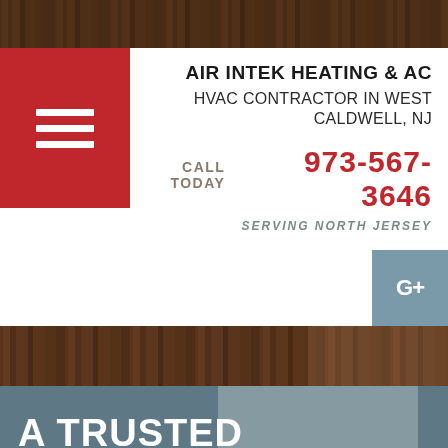[Figure (photo): Wood texture top decorative bar]
[Figure (illustration): Red hamburger menu button with three white horizontal lines]
AIR INTEK HEATING & AC
HVAC CONTRACTOR IN WEST CALDWELL, NJ
CALL TODAY  973-567-3646
SERVING NORTH JERSEY
[Figure (logo): Google+ social media button in slate blue]
[Figure (photo): Wood plank texture middle band]
A TRUSTED AMERICAN ICON
Coleman is proud to continue our enduring legacy by providing long-lasting comfort you can count on.